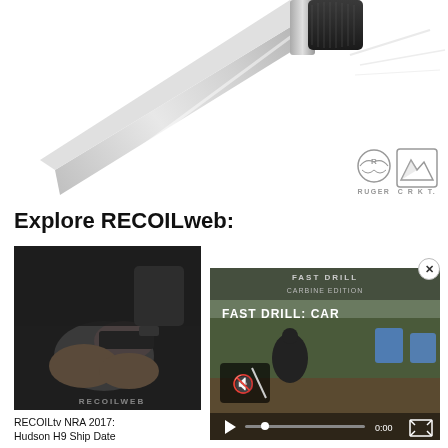[Figure (photo): A fixed-blade knife with silver blade and black handle, shown diagonally on white background with Ruger and CRKT brand logos at bottom right]
Explore RECOILweb:
[Figure (screenshot): Thumbnail of RECOILtv NRA 2017 video showing hands holding a pistol on a dark background with RECOILWEB watermark]
RECOILtv NRA 2017:
Hudson H9 Ship Date
[Figure (screenshot): Video player showing FAST DRILL: CAR-- text overlay with shooting range scene, blue targets, mute icon, play button, progress bar showing 0:00]